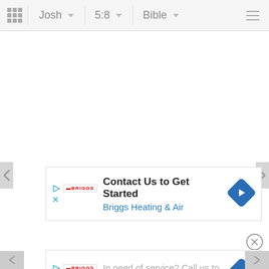Josh | 5:8 | Bible
[Figure (screenshot): Mobile Bible app navigation bar with book selector (Josh), chapter selector (5:8), and Bible version selector, with grid and hamburger menu icons]
[Figure (other): Advertisement banner: Contact Us to Get Started - Briggs Heating & Air with blue diamond arrow icon]
[Figure (other): Advertisement banner: In need of service? Call us to schedule an appointment. - Briggs Heating & Air with blue diamond arrow icon]